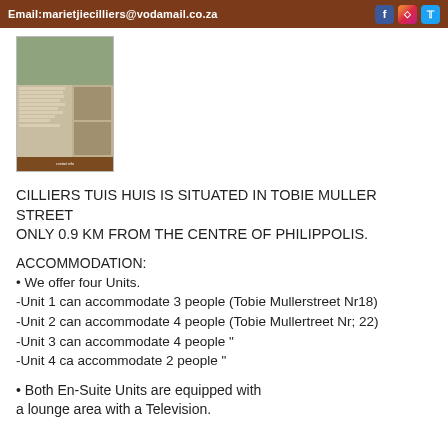Email:marietjiecilliers@vodamail.co.za
[Figure (photo): Property listing image showing a house exterior (green roof, white walls) and interior rooms, with contact details at the bottom]
CILLIERS TUIS HUIS IS SITUATED IN TOBIE MULLER STREET
ONLY 0.9 KM FROM THE CENTRE OF PHILIPPOLIS.
ACCOMMODATION:
• We offer four Units.
-Unit 1 can accommodate 3 people (Tobie Mullerstreet Nr18)
-Unit 2 can accommodate 4 people (Tobie Mullertreet Nr; 22)
-Unit 3 can accommodate 4 people "
-Unit 4 ca accommodate 2 people "
• Both En-Suite Units are equipped with a lounge area with a Television.